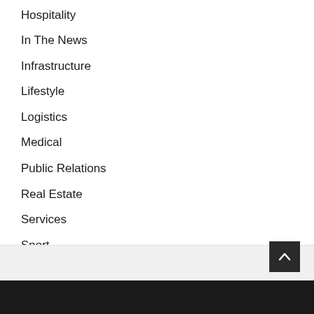Hospitality
In The News
Infrastructure
Lifestyle
Logistics
Medical
Public Relations
Real Estate
Services
Sport
Tech
Travel
Uncategorized